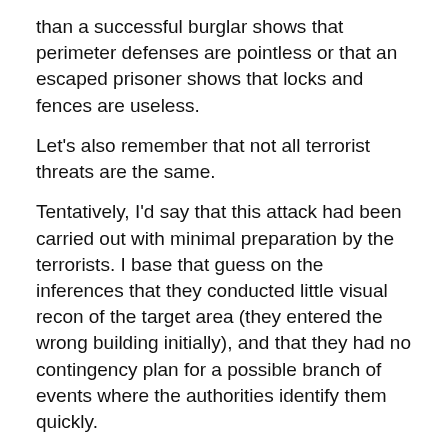than a successful burglar shows that perimeter defenses are pointless or that an escaped prisoner shows that locks and fences are useless.
Let's also remember that not all terrorist threats are the same.
Tentatively, I'd say that this attack had been carried out with minimal preparation by the terrorists. I base that guess on the inferences that they conducted little visual recon of the target area (they entered the wrong building initially), and that they had no contingency plan for a possible branch of events where the authorities identify them quickly.
This will be of a type more difficult to prevent than others, because it involves, by definition, little preparation and planning. This means among other things fewer opportunities for plotters to show something to any surveillance that would raise suspicion that an active plot was in motion. And, obviously if they were able to procure weapons without being noticed they were not under very tight surveillance.
Other types of terrorist plots, which do require lots of preparation and planning, are by nature more susceptible to